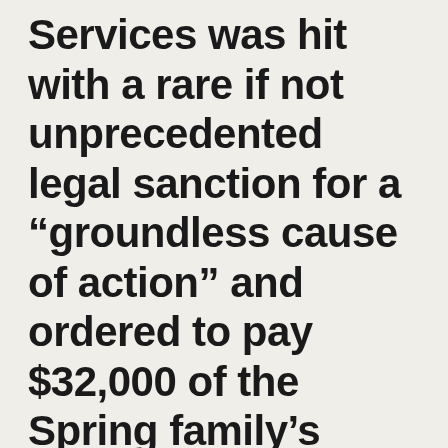Services was hit with a rare if not unprecedented legal sanction for a “groundless cause of action” and ordered to pay $32,000 of the Spring family’s attorney fees. Judge Schneider wrote in a 13-page order, “The offensive conduct by (CPS) has significantly interfered with the legitimate